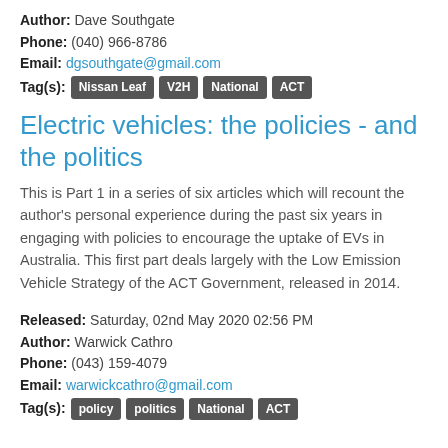Author: Dave Southgate
Phone: (040) 966-8786
Email: dgsouthgate@gmail.com
Tag(s): Nissan Leaf  V2H  National  ACT
Electric vehicles: the policies - and the politics
This is Part 1 in a series of six articles which will recount the author's personal experience during the past six years in engaging with policies to encourage the uptake of EVs in Australia. This first part deals largely with the Low Emission Vehicle Strategy of the ACT Government, released in 2014.
Released: Saturday, 02nd May 2020 02:56 PM
Author: Warwick Cathro
Phone: (043) 159-4079
Email: warwickcathro@gmail.com
Tag(s): policy  politics  National  ACT